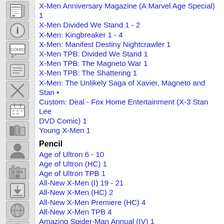X-Men Anniversary Magazine (A Marvel Age Special) 1
X-Men Divided We Stand 1 - 2
X-Men: Kingbreaker 1 - 4
X-Men: Manifest Destiny Nightcrawler 1
X-Men TPB: Divided We Stand 1
X-Men TPB: The Magneto War 1
X-Men TPB: The Shattering 1
X-Men: The Unlikely Saga of Xavier, Magneto and Stan • Custom: Deal - Fox Home Entertainment (X-3 Stan Lee DVD Comic) 1
Young X-Men 1
Pencil
Age of Ultron 6 - 10
Age of Ultron (HC) 1
Age of Ultron TPB 1
All-New X-Men (I) 19 - 21
All-New X-Men (HC) 2
All-New X-Men Premiere (HC) 4
All-New X-Men TPB 4
Amazing Spider-Man Annual (IV) 1
Amazing Spider-Man (HC) 1
Amazing Spider-Man (HC): Amazing Grace 1
Amazing Spider-Man TPB (II) 4
Astonishing X-Men (II) 1 - 3
Astonishing X-Men TPB: Deathwish 1
Avengers (V) 24.1, 31 - 32, 34
Avengers Omnibus (HC) By Jonathan Hickman 2
Avengers Premiere (HC) By Brian Michael Bendis 5